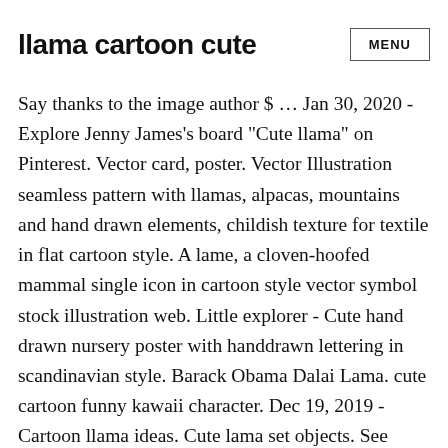llama cartoon cute
MENU
Say thanks to the image author $ … Jan 30, 2020 - Explore Jenny James's board "Cute llama" on Pinterest. Vector card, poster. Vector Illustration seamless pattern with llamas, alpacas, mountains and hand drawn elements, childish texture for textile in flat cartoon style. A lame, a cloven-hoofed mammal single icon in cartoon style vector symbol stock illustration web. Little explorer - Cute hand drawn nursery poster with handdrawn lettering in scandinavian style. Barack Obama Dalai Lama. cute cartoon funny kawaii character. Dec 19, 2019 - Cartoon llama ideas. Cute lama set objects. See more ideas about llama, cute llama, llama alpaca. Motivational and inspirational quote. Download this Premium Vector about Cute cartoon llamas,